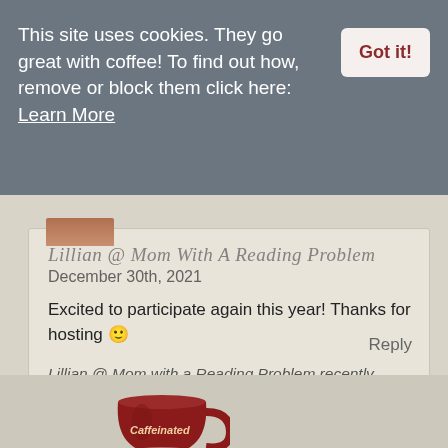This site uses cookies. They go great with coffee! To find out how, remove or block them click here: Learn More
Got it!
Lillian @ Mom With A Reading Problem
December 30th, 2021
Excited to participate again this year! Thanks for hosting 🙂
Lillian @ Mom with a Reading Problem recently posted: 2022 Reading Challenges....Accepted
Reply
[Figure (illustration): A red coffee cup with the word 'Caffeinated' on it, on a white saucer, partially visible at the bottom of the page.]